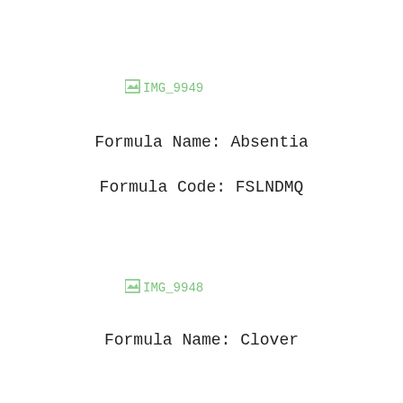[Figure (other): Broken image placeholder labeled IMG_9949]
Formula Name: Absentia
Formula Code: FSLNDMQ
[Figure (other): Broken image placeholder labeled IMG_9948]
Formula Name: Clover